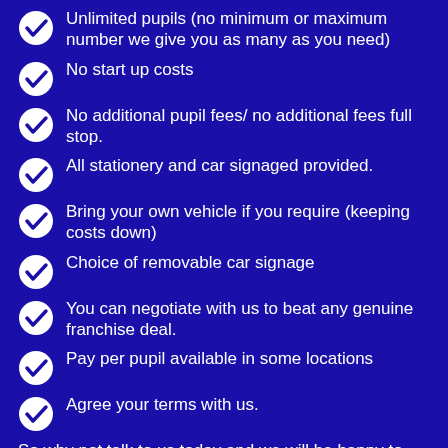Unlimited pupils (no minimum or maximum number we give you as many as you need)
No start up costs
No additional pupil fees/ no additional fees full stop.
All stationery and car signaged provided.
Bring your own vehicle if you require (keeping costs down)
Choice of removable car signage
You can negotiate with us to beat any genuine franchise deal.
Pay per pupil available in some locations
Agree your terms with us.
So why not talk to us today and we will be happy to discuss your needs or complete this form and we will call you back at a convenient time to you.